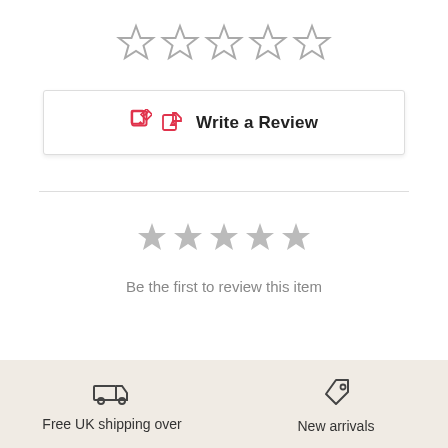[Figure (other): Five empty outline star rating icons]
Write a Review
[Figure (other): Five filled light gray star rating icons]
Be the first to review this item
[Figure (other): Delivery truck icon and tag icon in footer]
Free UK shipping over
New arrivals